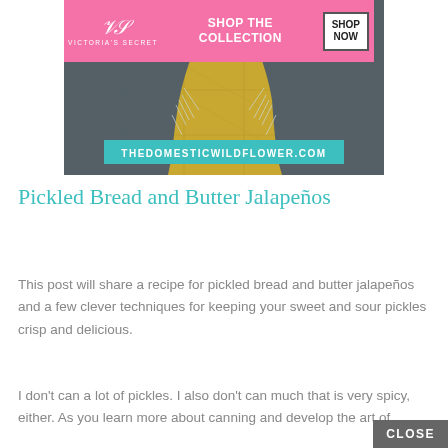[Figure (screenshot): Victoria's Secret advertisement banner with pink background, VS logo, 'SHOP THE COLLECTION' text, and 'SHOP NOW' button]
[Figure (photo): Close-up photo of frayed denim jeans with a yellow/teal cutting mat visible underneath. Website URL 'THEDOMESTICWILDFLOWER.COM' displayed on a teal bar at the bottom of the image.]
Pickled Bread and Butter Jalapeños
This post will share a recipe for pickled bread and butter jalapeños and a few clever techniques for keeping your sweet and sour pickles crisp and delicious.
I don't can a lot of pickles. I also don't can much that is very spicy, either. As you learn more about canning and develop the art of